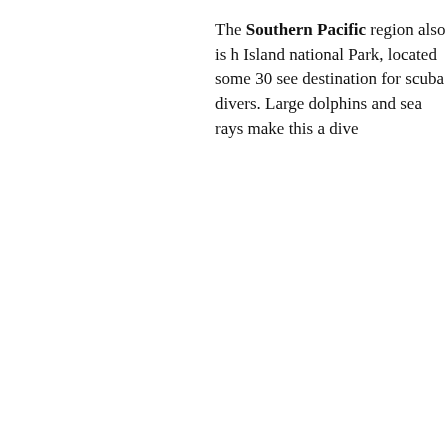The Southern Pacific region also is home to Coiba Island national Park, located some 30... see destination for scuba divers. Large... dolphins and sea rays make this a dive...